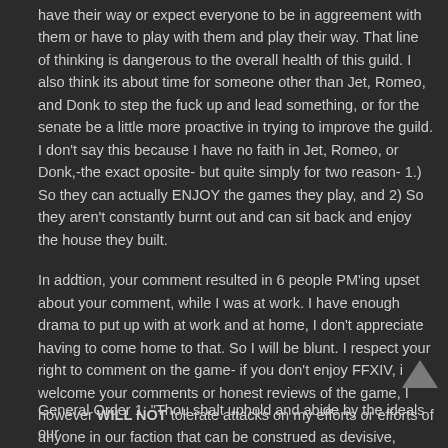have their way or expect everyone to be in aggreement with them or have to play with them and play their way. That line of thinking is dangerous to the overall health of this guild. I also think its about time for someone other than Jet, Romeo, and Donk to step the fuck up and lead something, or for the senate be a little more proactive in trying to improve the guild. I don't say this because I have no faith in Jet, Romeo, or Donk,-the exact oposite- but quite simply for two reason- 1.) So they can actually ENJOY the games they play, and 2) So they aren't constantly burnt out and can sit back and enjoy the house they built.
In addtion, your comment resulted in 6 people PM'ing upset about your comment, while I was at work. I have enough drama to put up with at work and at home, I don't appreciate having to come home to that. So I will be blunt. I respect your right to comment on the game- if you don't enjoy FFXIV, i welcome your comments or honest reviews of the game, I however WILL NOT tolerate attacks on my efforts or efforts of anyone in our faction that can be construed as devisive, undermining, ect. General Order 1 states:
General Order 1: "Thou shalt uphold and abide by the ideals our...